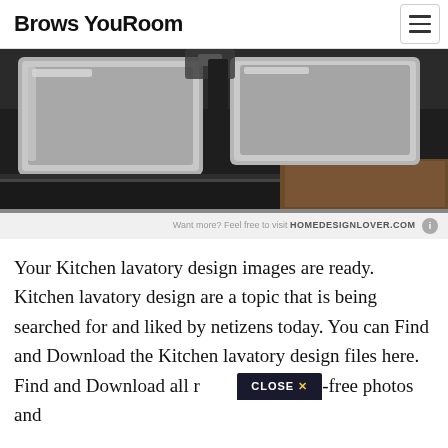Brows YouRoom
[Figure (photo): Close-up photo of a stainless steel kitchen sink on a dark countertop with wood cabinet below, watermark reading 'Want more? Feel free to visit HOMEDESIGNLOVER.COM']
Your Kitchen lavatory design images are ready. Kitchen lavatory design are a topic that is being searched for and liked by netizens today. You can Find and Download the Kitchen lavatory design files here. Find and Download all royalty-free photos and